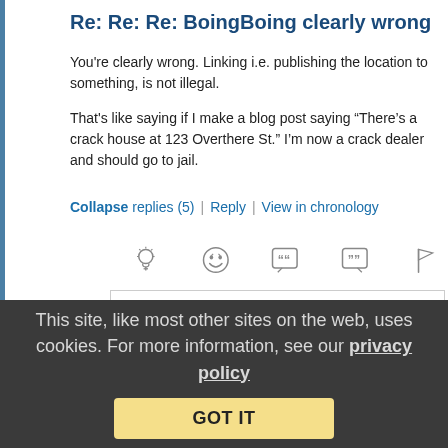Re: Re: Re: BoingBoing clearly wrong
You're clearly wrong. Linking i.e. publishing the location to something, is not illegal.
That's like saying if I make a blog post saying “There's a crack house at 123 Overthere St.” I'm now a crack dealer and should go to jail.
Collapse replies (5) | Reply | View in chronology
[Figure (infographic): Row of comment action icons: lightbulb (insightful), laughing emoji (funny), open-quote speech bubble, close-quote speech bubble, flag]
[Figure (infographic): Stacked chat bubbles icon with [5] reply count indicator]
This site, like most other sites on the web, uses cookies. For more information, see our privacy policy
GOT IT